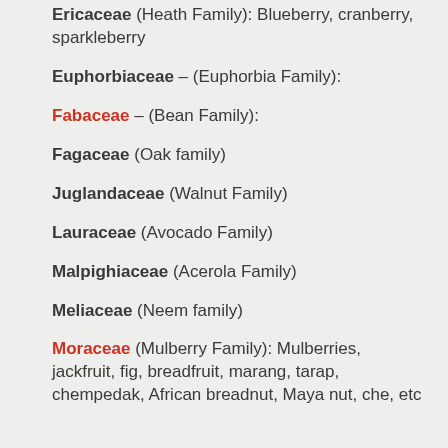Ericaceae (Heath Family):  Blueberry, cranberry, sparkleberry
Euphorbiaceae – (Euphorbia Family):
Fabaceae – (Bean Family):
Fagaceae (Oak family)
Juglandaceae (Walnut Family)
Lauraceae (Avocado Family)
Malpighiaceae (Acerola Family)
Meliaceae (Neem family)
Moraceae (Mulberry Family):  Mulberries, jackfruit, fig, breadfruit, marang, tarap, chempedak, African breadnut, Maya nut, che, etc